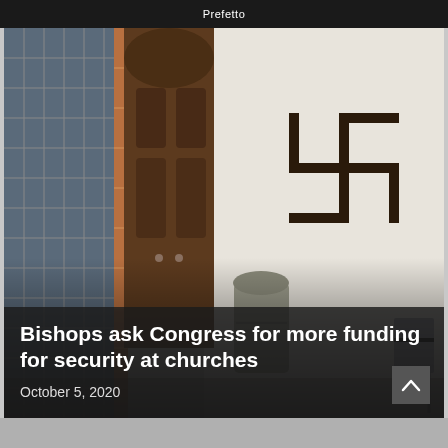Prefetto
[Figure (photo): A church exterior showing a brick column with blue tiles, a dark wooden arched door, a gray trash can, and a white wall with a large swastika graffiti spray-painted in dark paint. A metal folding chair is visible on the right.]
Bishops ask Congress for more funding for security at churches
October 5, 2020